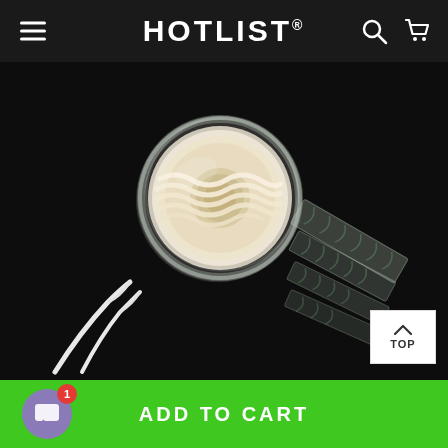HOTLIST®
[Figure (photo): A clear plastic dispenser roll of eyelid tape/double-sided adhesive strips on a black background, with individual strips partially unrolled, and a pair of tweezers visible at the bottom left.]
ADD TO CART